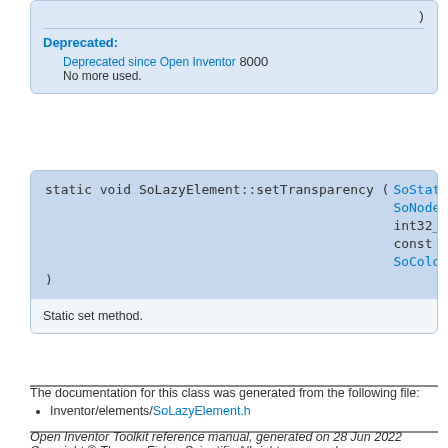Deprecated:
Deprecated since Open Inventor 8000
No more used.
static void SoLazyElement::setTransparency ( SoState * state, SoNode * node, int32_t numTransp, const float * transp, SoColorPacker * cPacker )
Static set method.
The documentation for this class was generated from the following file:
Inventor/elements/SoLazyElement.h
Open Inventor Toolkit reference manual, generated on 28 Jun 2022
Copyright © Thermo Fisher Scientific All rights reserved.
http://www.openinventor.com/